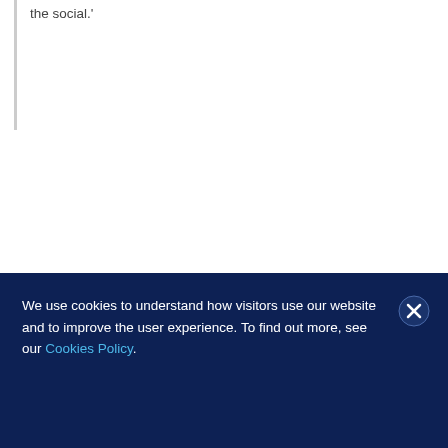the social.'
We use cookies to understand how visitors use our website and to improve the user experience. To find out more, see our Cookies Policy.